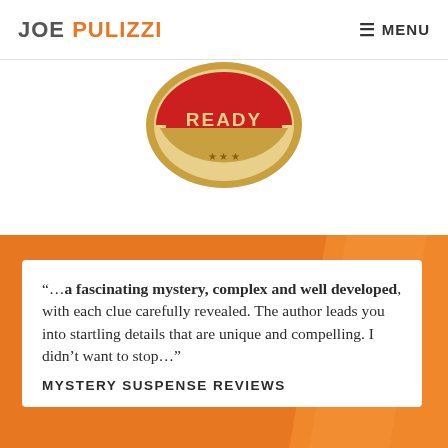JOE PULIZZI   MENU
[Figure (illustration): Partial circular badge/seal with text 'READY' visible in red and gold colors, shown cropped at top]
“…a fascinating mystery, complex and well developed, with each clue carefully revealed. The author leads you into startling details that are unique and compelling. I didn’t want to stop…”
MYSTERY SUSPENSE REVIEWS